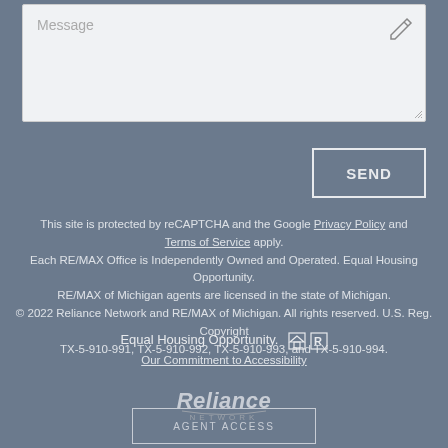[Figure (screenshot): Message text input box with placeholder text 'Message' and a pencil/edit icon in the top right corner, with a resize handle at bottom right]
SEND
This site is protected by reCAPTCHA and the Google Privacy Policy and Terms of Service apply.
Each RE/MAX Office is Independently Owned and Operated. Equal Housing Opportunity. RE/MAX of Michigan agents are licensed in the state of Michigan.
© 2022 Reliance Network and RE/MAX of Michigan. All rights reserved. U.S. Reg. Copyright TX-5-910-991, TX-5-910-992, TX-5-910-993, and TX-5-910-994.
Equal Housing Opportunity.
Our Commitment to Accessibility
[Figure (logo): Reliance Network logo in white/light gray]
AGENT ACCESS